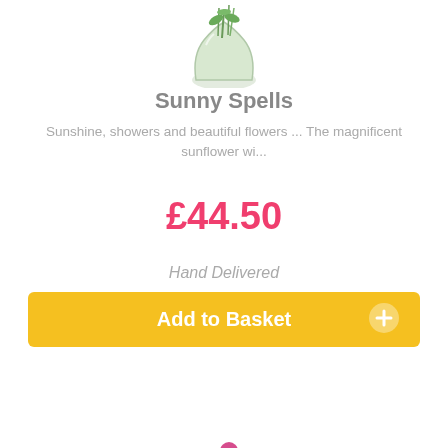[Figure (photo): Partial view of flower vase with sunflowers at the top]
Sunny Spells
Sunshine, showers and beautiful flowers ... The magnificent sunflower wi...
£44.50
Hand Delivered
Add to Basket
[Figure (photo): Bouquet of mixed flowers including pink roses, white flowers, purple and magenta blooms wrapped in green and kraft paper]